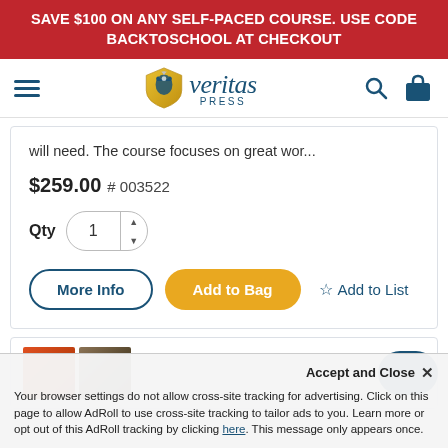SAVE $100 ON ANY SELF-PACED COURSE. USE CODE BACKTOSCHOOL AT CHECKOUT
[Figure (logo): Veritas Press logo with shield/eagle emblem and text 'veritas PRESS']
will need. The course focuses on great wor...
$259.00  # 003522
Qty  1
More Info   Add to Bag   ☆ Add to List
[Figure (screenshot): Partial view of a second product card with book thumbnails]
Accept and Close ×
Your browser settings do not allow cross-site tracking for advertising. Click on this page to allow AdRoll to use cross-site tracking to tailor ads to you. Learn more or opt out of this AdRoll tracking by clicking here. This message only appears once.